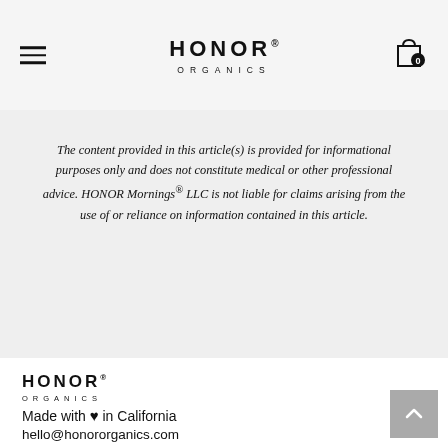HONOR ORGANICS
The content provided in this article(s) is provided for informational purposes only and does not constitute medical or other professional advice. HONOR Mornings® LLC is not liable for claims arising from the use of or reliance on information contained in this article.
[Figure (logo): HONOR ORGANICS logo in footer]
Made with ♥ in California
hello@honororganics.com
[Figure (illustration): Social media icons: Instagram, Facebook, Pinterest, YouTube, Twitter]
Pages